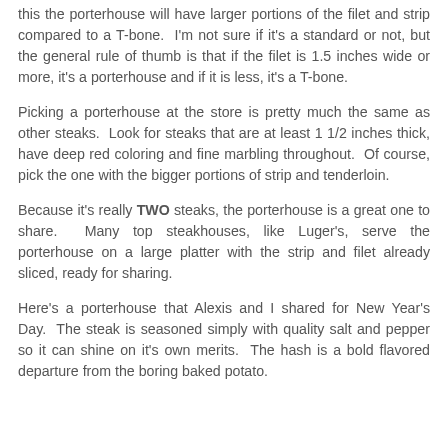this the porterhouse will have larger portions of the filet and strip compared to a T-bone.  I'm not sure if it's a standard or not, but the general rule of thumb is that if the filet is 1.5 inches wide or more, it's a porterhouse and if it is less, it's a T-bone.
Picking a porterhouse at the store is pretty much the same as other steaks.  Look for steaks that are at least 1 1/2 inches thick, have deep red coloring and fine marbling throughout.  Of course, pick the one with the bigger portions of strip and tenderloin.
Because it's really TWO steaks, the porterhouse is a great one to share.  Many top steakhouses, like Luger's, serve the porterhouse on a large platter with the strip and filet already sliced, ready for sharing.
Here's a porterhouse that Alexis and I shared for New Year's Day.  The steak is seasoned simply with quality salt and pepper so it can shine on it's own merits.  The hash is a bold flavored departure from the boring baked potato.